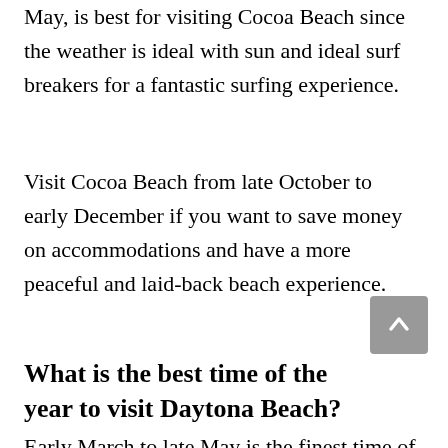May, is best for visiting Cocoa Beach since the weather is ideal with sun and ideal surf breakers for a fantastic surfing experience.
Visit Cocoa Beach from late October to early December if you want to save money on accommodations and have a more peaceful and laid-back beach experience.
What is the best time of the year to visit Daytona Beach?
Early March to late May is the finest time of...